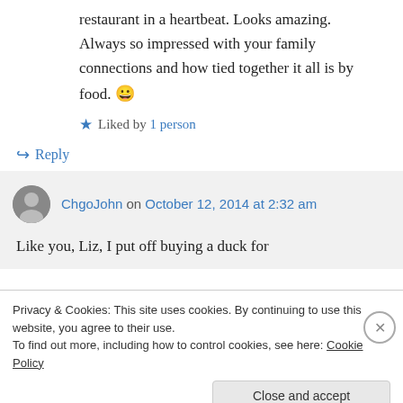restaurant in a heartbeat. Looks amazing. Always so impressed with your family connections and how tied together it all is by food. 😀
★ Liked by 1 person
↪ Reply
ChgoJohn on October 12, 2014 at 2:32 am
Like you, Liz, I put off buying a duck for
Privacy & Cookies: This site uses cookies. By continuing to use this website, you agree to their use.
To find out more, including how to control cookies, see here: Cookie Policy
Close and accept